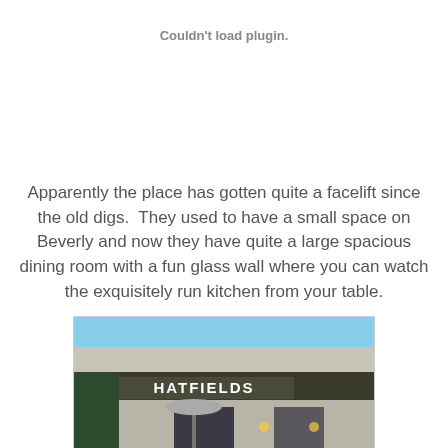Couldn't load plugin.
Apparently the place has gotten quite a facelift since the old digs.  They used to have a small space on Beverly and now they have quite a large spacious dining room with a fun glass wall where you can watch the exquisitely run kitchen from your table.
[Figure (photo): Exterior photo of Hatfields restaurant showing the signage 'HATFIELDS' on the building facade, with outdoor seating area with wooden chairs stacked, a patio umbrella stand, and the building entrance visible in the background.]